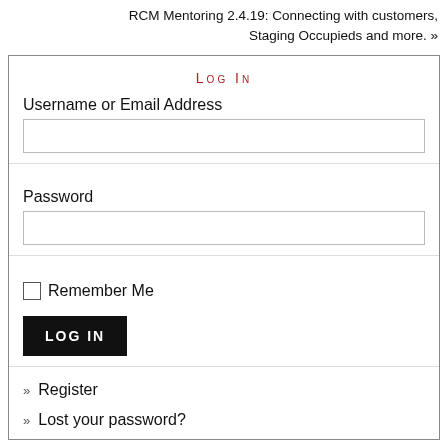RCM Mentoring 2.4.19: Connecting with customers, Staging Occupieds and more. »
Log In
Username or Email Address
Password
Remember Me
LOG IN
Register
Lost your password?